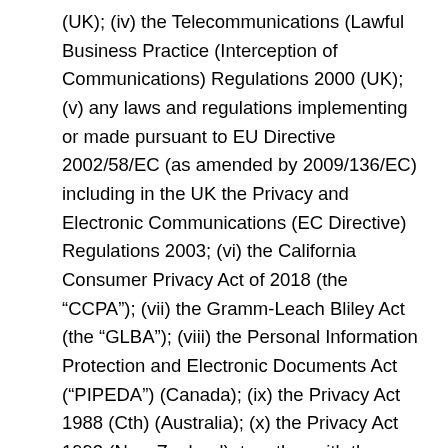(UK); (iv) the Telecommunications (Lawful Business Practice (Interception of Communications) Regulations 2000 (UK); (v) any laws and regulations implementing or made pursuant to EU Directive 2002/58/EC (as amended by 2009/136/EC) including in the UK the Privacy and Electronic Communications (EC Directive) Regulations 2003; (vi) the California Consumer Privacy Act of 2018 (the “CCPA”); (vii) the Gramm-Leach Bliley Act (the “GLBA”); (viii) the Personal Information Protection and Electronic Documents Act (“PIPEDA”) (Canada); (ix) the Privacy Act 1988 (Cth) (Australia); (x) the Privacy Act 1993 (New Zealand); together with the equivalent legislation of any other